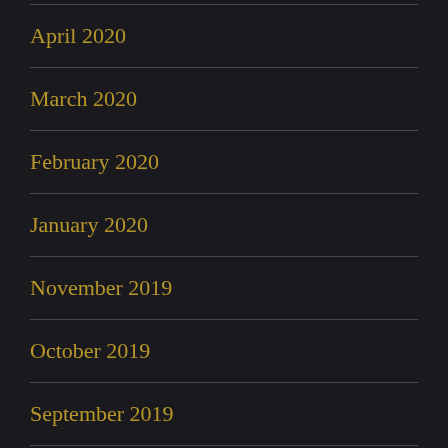April 2020
March 2020
February 2020
January 2020
November 2019
October 2019
September 2019
August 2019